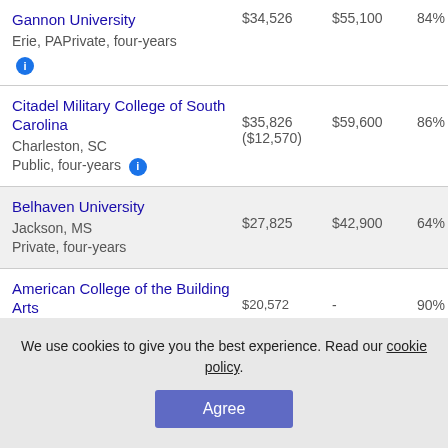| School | Tuition | Salary | Repay |  |
| --- | --- | --- | --- | --- |
| Gannon University
Erie, PAPrivate, four-years | $34,526 | $55,100 | 84% | 1 |
| Citadel Military College of South Carolina
Charleston, SC
Public, four-years | $35,826
($12,570) | $59,600 | 86% | 1 |
| Belhaven University
Jackson, MS
Private, four-years | $27,825 | $42,900 | 64% | 1 |
| American College of the Building Arts | $20,572 | - | 90% | 1 |
We use cookies to give you the best experience. Read our cookie policy.